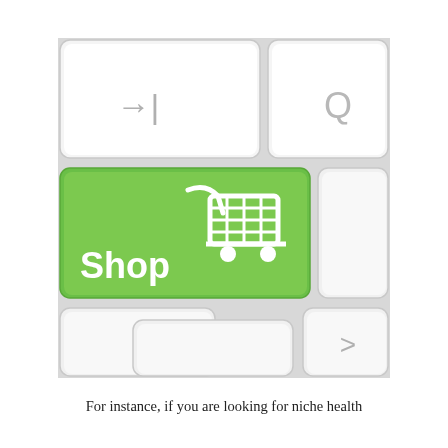[Figure (photo): Close-up photograph of a keyboard with a prominent green key showing a shopping cart icon and the word 'Shop', surrounded by white keyboard keys including one with a Tab arrow symbol and one with the letter Q.]
For instance, if you are looking for niche health